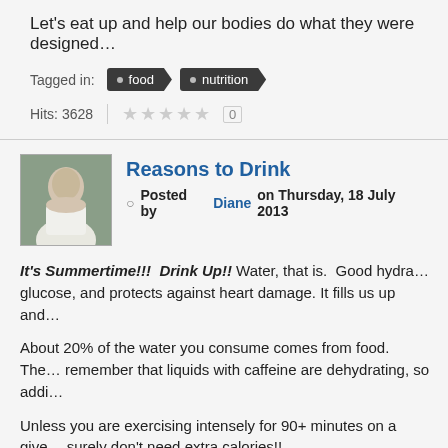Let's eat up and help our bodies do what they were designed…
Tagged in: food nutrition
Hits: 3628  0
Reasons to Drink
Posted by Diane on Thursday, 18 July 2013
It's Summertime!!!  Drink Up!! Water, that is.  Good hydra… glucose, and protects against heart damage. It fills us up and…
About 20% of the water you consume comes from food.  The… remember that liquids with caffeine are dehydrating, so addi…
Unless you are exercising intensely for 90+ minutes on a give… surely don't need extra calories!!